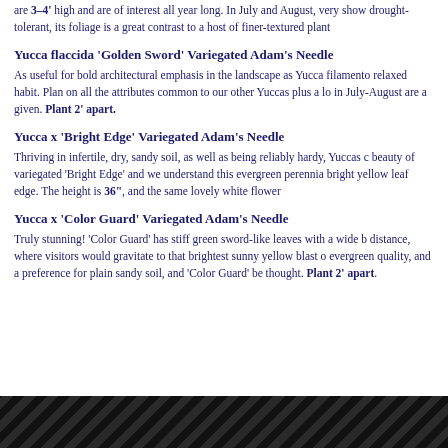are 3–4' high and are of interest all year long. In July and August, very show drought-tolerant, its foliage is a great contrast to a host of finer-textured plant
Yucca flaccida 'Golden Sword'  Variegated Adam's Needle
As useful for bold architectural emphasis in the landscape as Yucca filamento relaxed habit. Plan on all the attributes common to our other Yuccas plus a lo in July-August are a given.  Plant 2' apart.
Yucca x 'Bright Edge'  Variegated Adam's Needle
Thriving in infertile, dry, sandy soil, as well as being reliably hardy, Yuccas c beauty of variegated 'Bright Edge' and we understand this evergreen perennia bright yellow leaf edge. The height is 36", and the same lovely white flower
Yucca x 'Color Guard'  Variegated Adam's Needle
Truly stunning! 'Color Guard' has stiff green sword-like leaves with a wide b distance, where visitors would gravitate to that brightest sunny yellow blast o evergreen quality, and a preference for plain sandy soil, and 'Color Guard' be thought.  Plant 2' apart.